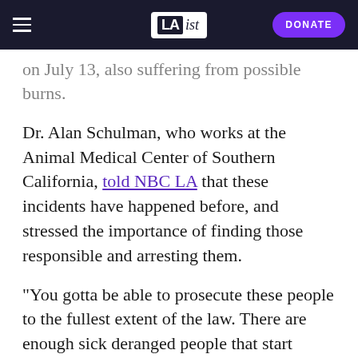LAist | DONATE
on July 13, also suffering from possible burns.
Dr. Alan Schulman, who works at the Animal Medical Center of Southern California, told NBC LA that these incidents have happened before, and stressed the importance of finding those responsible and arresting them.
"You gotta be able to prosecute these people to the fullest extent of the law. There are enough sick deranged people that start doing these to animals and then graduate to doing it to people," Schulman said.